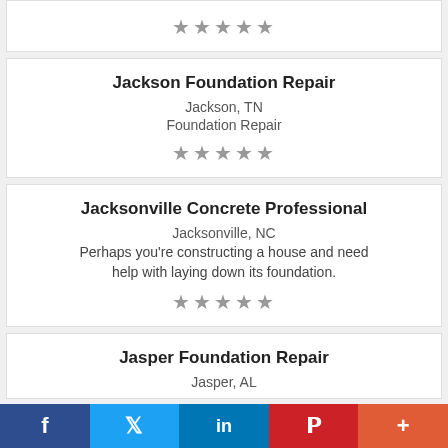[Figure (other): Five grey stars rating for a business listing (top card, partial)]
Jackson Foundation Repair
Jackson, TN
Foundation Repair
[Figure (other): Five grey stars rating for Jackson Foundation Repair]
Jacksonville Concrete Professional
Jacksonville, NC
Perhaps you're constructing a house and need help with laying down its foundation.
[Figure (other): Five grey stars rating for Jacksonville Concrete Professional]
Jasper Foundation Repair
Jasper, AL
f  Twitter  in  P  +